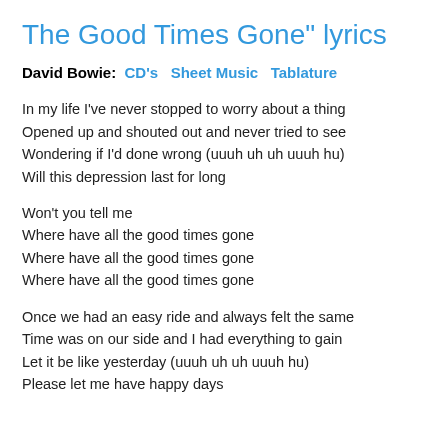The Good Times Gone" lyrics
David Bowie:  CD's  Sheet Music  Tablature
In my life I've never stopped to worry about a thing
Opened up and shouted out and never tried to see
Wondering if I'd done wrong (uuuh uh uh uuuh hu)
Will this depression last for long
Won't you tell me
Where have all the good times gone
Where have all the good times gone
Where have all the good times gone
Once we had an easy ride and always felt the same
Time was on our side and I had everything to gain
Let it be like yesterday (uuuh uh uh uuuh hu)
Please let me have happy days